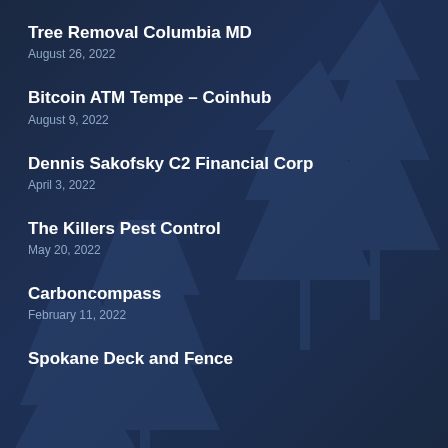Tree Removal Columbia MD
August 26, 2022
Bitcoin ATM Tempe – Coinhub
August 9, 2022
Dennis Sakofsky C2 Financial Corp
April 3, 2022
The Killers Pest Control
May 20, 2022
Carboncompass
February 11, 2022
Spokane Deck and Fence